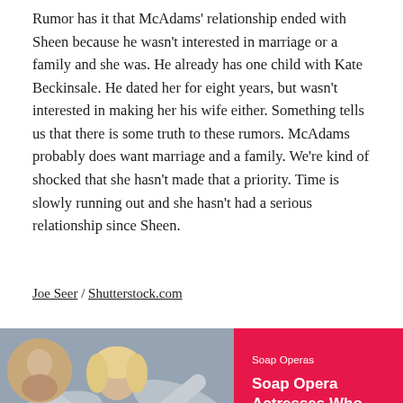Rumor has it that McAdams' relationship ended with Sheen because he wasn't interested in marriage or a family and she was. He already has one child with Kate Beckinsale. He dated her for eight years, but wasn't interested in making her his wife either. Something tells us that there is some truth to these rumors. McAdams probably does want marriage and a family. We're kind of shocked that she hasn't made that a priority. Time is slowly running out and she hasn't had a serious relationship since Sheen.
Joe Seer / Shutterstock.com
[Figure (photo): A blonde woman in a silvery wide-sleeve dress posing with arms raised, photographed outdoors against a brick wall background.]
Soap Operas
Soap Opera Actresses Who Simply Cannot Be Recast
[Figure (photo): Partial circular avatar/thumbnail at bottom of page.]